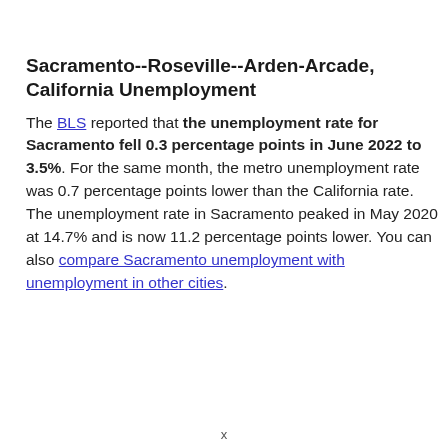Sacramento--Roseville--Arden-Arcade, California Unemployment
The BLS reported that the unemployment rate for Sacramento fell 0.3 percentage points in June 2022 to 3.5%. For the same month, the metro unemployment rate was 0.7 percentage points lower than the California rate. The unemployment rate in Sacramento peaked in May 2020 at 14.7% and is now 11.2 percentage points lower. You can also compare Sacramento unemployment with unemployment in other cities.
x